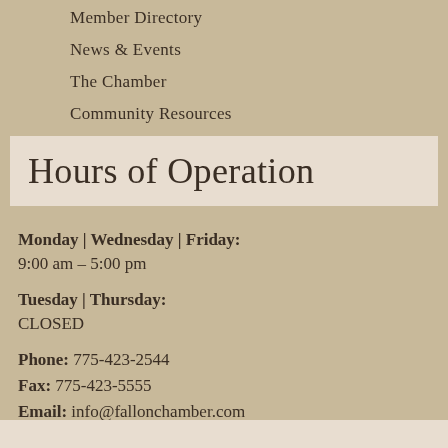Member Directory
News & Events
The Chamber
Community Resources
Hours of Operation
Monday | Wednesday | Friday:
9:00 am – 5:00 pm
Tuesday | Thursday:
CLOSED
Phone: 775-423-2544
Fax: 775-423-5555
Email: info@fallonchamber.com